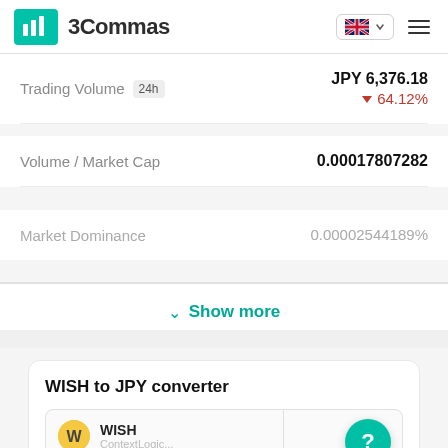[Figure (logo): 3Commas logo with teal background and white bar chart icon, followed by '3Commas' text]
Trading Volume 24h JPY 6,376.18 ▼ 64.12%
Volume / Market Cap 0.00017807282
Market Dominance 0.00002544189%
Show more
WISH to JPY converter
WISH 1